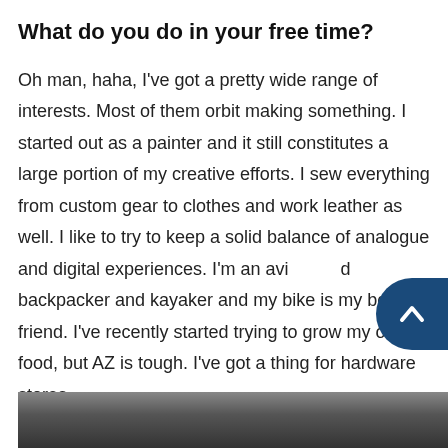What do you do in your free time?
Oh man, haha, I've got a pretty wide range of interests. Most of them orbit making something. I started out as a painter and it still constitutes a large portion of my creative efforts. I sew everything from custom gear to clothes and work leather as well. I like to try to keep a solid balance of analogue and digital experiences. I'm an avid backpacker and kayaker and my bike is my best friend. I've recently started trying to grow my own food, but AZ is tough. I've got a thing for hardware stores.
[Figure (photo): Partial view of a photograph at the bottom of the page, showing a dark background scene.]